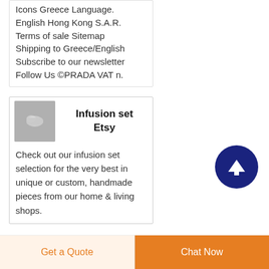Icons Greece Language. English Hong Kong S.A.R. Terms of sale Sitemap Shipping to Greece/English Subscribe to our newsletter Follow Us ©PRADA VAT n.
Infusion set Etsy
[Figure (photo): Small thumbnail photo of an infusion set product, grey/silver tones]
Check out our infusion set selection for the very best in unique or custom, handmade pieces from our home & living shops.
[Figure (illustration): Dark navy blue circular scroll-to-top button with white upward arrow icon]
Get a Quote
Chat Now